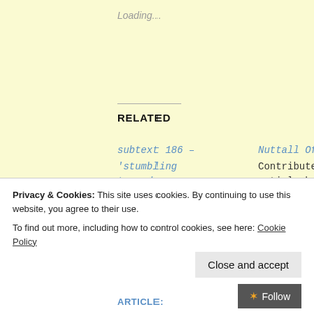Loading...
RELATED
subtext 186 – 'stumbling towards a no deal subtext'
Every so often during term time. Letters, March 1
Nuttall Officers
Contributed article by Ronnie Rowlands
Back in June 19 2020
In "contributed
Privacy & Cookies: This site uses cookies. By continuing to use this website, you agree to their use.
To find out more, including how to control cookies, see here: Cookie Policy
Close and accept
Follow
ARTICLE: